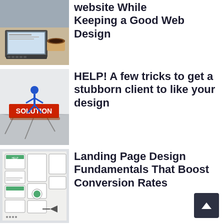[Figure (photo): Laptop and coffee cup on desk, overhead view]
Website While Keeping a Good Web Design
[Figure (photo): 3D illustration of a person standing on red SOLUTION text amid cracked ground]
HELP! A few tricks to get a stubborn client to like your design
[Figure (photo): Wireframe sketches of mobile app layout on paper]
Landing Page Design Fundamentals That Boost Conversion Rates